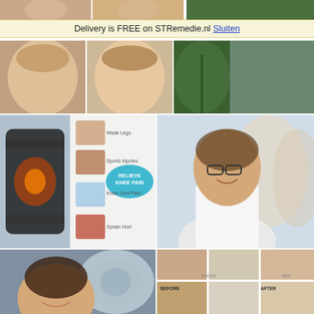[Figure (photo): Top strip showing partial view of multiple people's faces and a green plant/leaf background]
Delivery is FREE on STRemedie.nl Sluiten
[Figure (photo): Two panels showing close-up of women's faces (skin/anti-aging), and a green plant/herb image]
[Figure (infographic): Knee pain relief product image showing knee brace with X-ray style view, and infographic listing: Weak Legs, Sports Injuries, Knee Joint Pain, Sprain Hurt, with 'RELIEVE KNEE PAIN' callout bubble]
[Figure (photo): Smiling female doctor with glasses in white coat with colleagues in background]
[Figure (photo): Young woman smiling with medical equipment (MRI/CT scanner) in the background]
[Figure (photo): Skin treatment before/after collage showing multiple panels of skin conditions and results labeled 'before' and 'after', 'BEFORE' and 'AFTER']